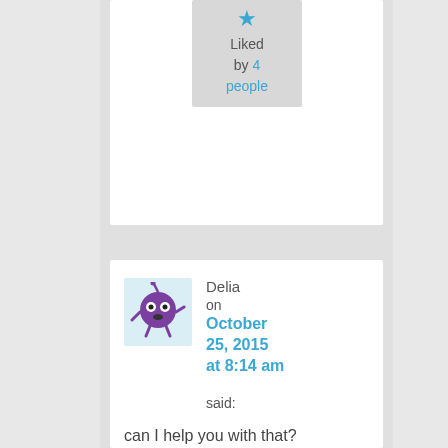Liked by 4 people
[Figure (illustration): Purple cartoon monster avatar with white eyes, open mouth, antenna, arms and legs on a light blue background]
Delia on October 25, 2015 at 8:14 am said:
can I help you with that?

I have a huge Rage in me after what the Psycho Nex I can beat the sh***outta